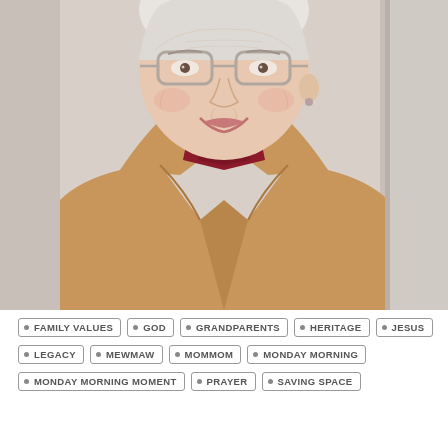[Figure (photo): Close-up portrait of an elderly woman with white hair pulled back, wearing glasses, a dark red/maroon knit turtleneck sweater, and a camel/tan wool coat with large lapels. She is smiling softly. Background is a white door or wall.]
• FAMILY VALUES  • GOD  • GRANDPARENTS  • HERITAGE  • JESUS  • LEGACY  • MEWMAW  • MOMMOM  • MONDAY MORNING  • MONDAY MORNING MOMENT  • PRAYER  • SAVING SPACE